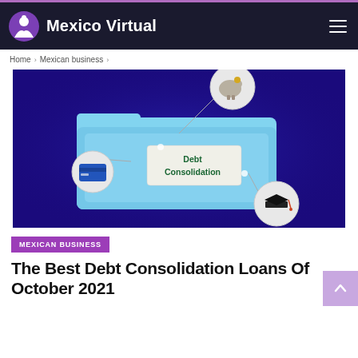Mexico Virtual
Home > Mexican business >
[Figure (illustration): Debt consolidation infographic: a light blue folder labeled 'Debt Consolidation' on a dark blue background, with circular icons connected by lines showing a piggy bank (savings), a credit card, and a graduation cap (student loans).]
MEXICAN BUSINESS
The Best Debt Consolidation Loans Of October 2021